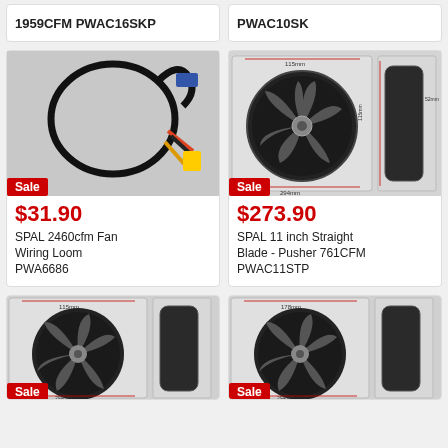1959CFM PWAC16SKP
PWAC10SK
[Figure (photo): Wiring loom/harness with connector on grey background, Sale badge]
$31.90
SPAL 2460cfm Fan Wiring Loom PWA6686
[Figure (photo): SPAL 11 inch fan front and side view technical diagram with dimensions, Sale badge]
$273.90
SPAL 11 inch Straight Blade - Pusher 761CFM PWAC11STP
[Figure (photo): SPAL fan front and side view technical diagram with dimensions, Sale badge visible at bottom]
[Figure (photo): SPAL fan front and side view technical diagram with dimensions, Sale badge visible at bottom]